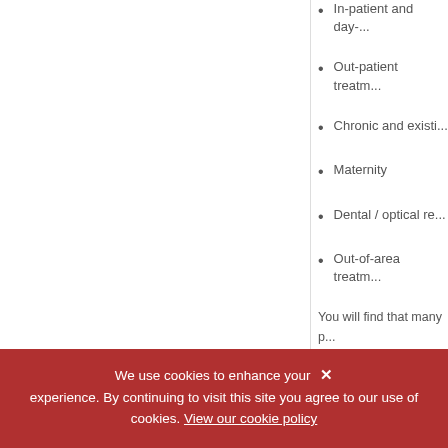In-patient and day-...
Out-patient treatm...
Chronic and existi...
Maternity
Dental / optical re...
Out-of-area treatm...
You will find that many p... will be charged either pe... higher excess plan thes...
Do I have any othe...
Treatment in the UK
It is a general truism tha... a result, people often co...
We use cookies to enhance your experience. By continuing to visit this site you agree to our use of cookies. View our cookie policy